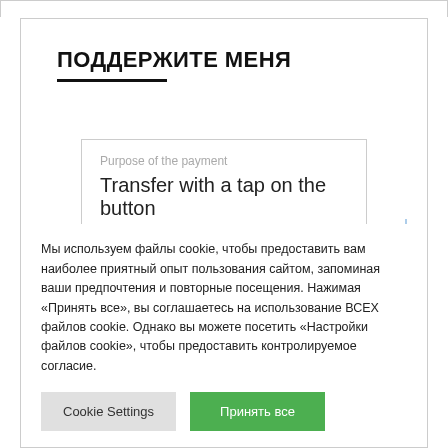ПОДДЕРЖИТЕ МЕНЯ
Purpose of the payment
Transfer with a tap on the button
Мы используем файлы cookie, чтобы предоставить вам наиболее приятный опыт пользования сайтом, запоминая ваши предпочтения и повторные посещения. Нажимая «Принять все», вы соглашаетесь на использование ВСЕХ файлов cookie. Однако вы можете посетить «Настройки файлов cookie», чтобы предоставить контролируемое согласие.
Cookie Settings
Принять все